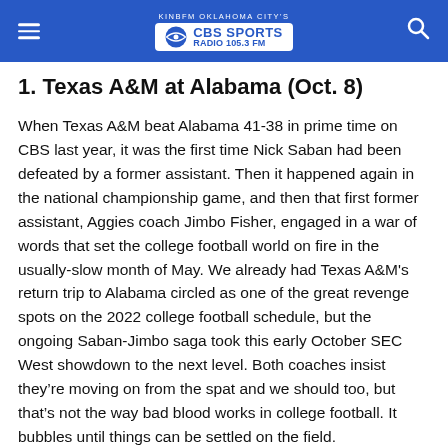KINBFM OKLAHOMA CITY'S CBS SPORTS RADIO 105.3FM
1. Texas A&M at Alabama (Oct. 8)
When Texas A&M beat Alabama 41-38 in prime time on CBS last year, it was the first time Nick Saban had been defeated by a former assistant. Then it happened again in the national championship game, and then that first former assistant, Aggies coach Jimbo Fisher, engaged in a war of words that set the college football world on fire in the usually-slow month of May. We already had Texas A&M's return trip to Alabama circled as one of the great revenge spots on the 2022 college football schedule, but the ongoing Saban-Jimbo saga took this early October SEC West showdown to the next level. Both coaches insist they're moving on from the spat and we should too, but that's not the way bad blood works in college football. It bubbles until things can be settled on the field.